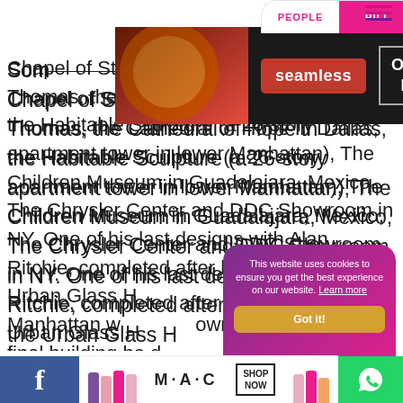[Figure (screenshot): Top banner advertisement for Seamless food ordering service with pizza image, Seamless logo in red, and ORDER NOW button]
[Figure (screenshot): People pill/tab navigation element at top center]
[Figure (screenshot): Hamburger menu icon (three lines) at top right in pink/purple]
Some... the Chapel of St. Basil at the university of St. Thomas, the Cathedral of Hope in Dallas, the Habitable Sculpture (a 26-story apartment tower in lower Manhattan), The Children Museum in Guadalajara, Mexico, The Chrysler Center and DDC Showroom in NY. One of his last designs with Alan Ritchie, completed after his death, was the Urban Glass House... Manhattan w... own earlier work, ...final building he d... a Academy of M... a,
[Figure (screenshot): Cookie consent popup with gradient purple-to-pink background reading: This website uses cookies to ensure you get the best experience on our website. Learn more. Got it! button in gold/orange]
[Figure (screenshot): Bottom bar with Facebook icon on left (blue), MAC cosmetics advertisement in center, WhatsApp icon on right (green)]